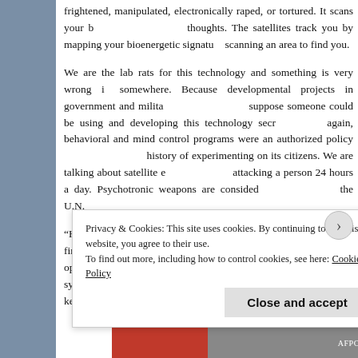frightened, manipulated, electronically raped, or tortured. It scans your brain and reads your thoughts. The satellites track you by mapping your bioenergetic signature and constantly scanning an area to find you.
We are the lab rats for this technology and something is very wrong in this country somewhere. Because developmental projects in government and military are top secret, I suppose someone could be using and developing this technology secretly. Then again, behavioral and mind control programs were an authorized policy and the U.S. has a history of experimenting on its citizens. We are talking about satellite electromagnetic attacking a person 24 hours a day. Psychotronic weapons are considered illegal under the U.N.
“HAARPs” can create earthquakes and can also x-ray the earth to find oil reserves. These ionospheric heaters can also operate as an over-the-horizon communications system. This system can control the weather or create a fake northern aurora keyhole through-your-roof satellite surveillance system, Echelon...
Privacy & Cookies: This site uses cookies. By continuing to use this website, you agree to their use.
To find out more, including how to control cookies, see here: Cookie Policy